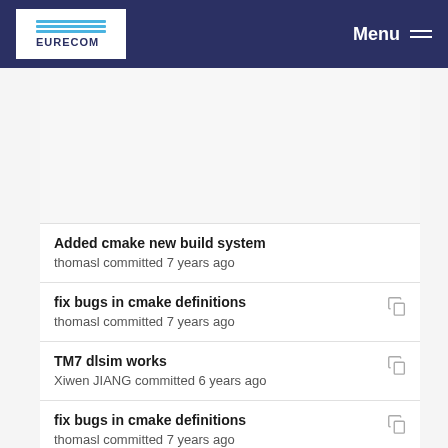EURECOM Menu
Added cmake new build system
thomasl committed 7 years ago
fix bugs in cmake definitions
thomasl committed 7 years ago
TM7 dlsim works
Xiwen JIANG committed 6 years ago
fix bugs in cmake definitions
thomasl committed 7 years ago
Merge remote-tracking branch 'origin/develop' int...
Florian Kaltenberger committed 6 years ago